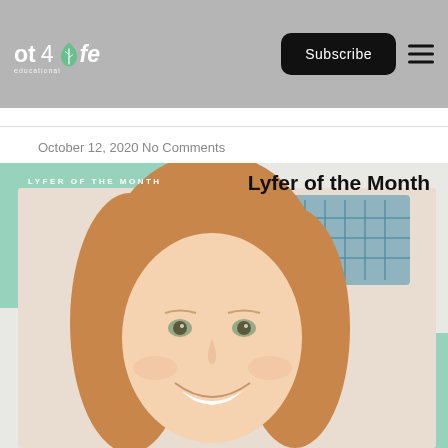ot 4 lyfe — Subscribe — Navigation menu
October 12, 2020  No Comments
[Figure (photo): Lyfer of the Month promotional graphic featuring a smiling young woman with reddish-blonde hair against a light background with mint/teal decorative blobs and a blue decorative wall hanging. Text overlay reads 'LYFER OF THE MONTH' on the left and 'Lyfer of the Month' in bold on the upper right.]